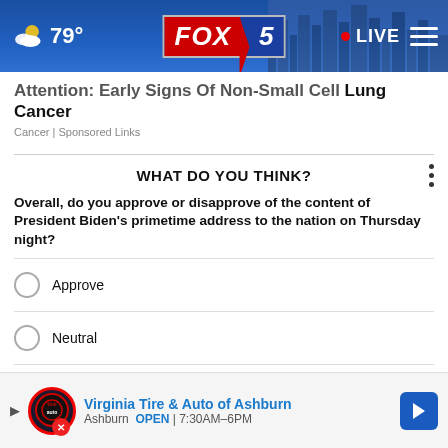79° FOX 5 LIVE
Attention: Early Signs Of Non-Small Cell Lung Cancer
Cancer | Sponsored Links
WHAT DO YOU THINK?
Overall, do you approve or disapprove of the content of President Biden's primetime address to the nation on Thursday night?
Approve
Neutral
Disapprove
I
O
Virginia Tire & Auto of Ashburn — Ashburn OPEN 7:30AM–6PM